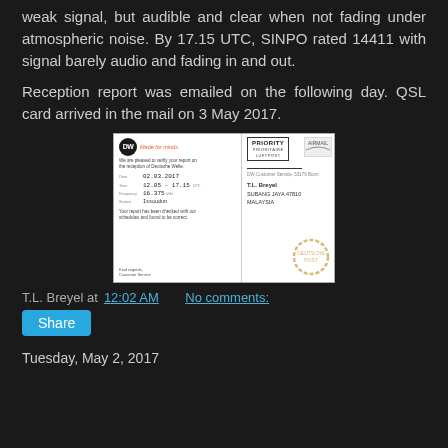weak signal, but audible and clear when not fading under atmospheric noise. By 17.15 UTC, SINPO rated 14411 with signal barely audio and fading in and out.
Reception report was emailed on the following day. QSL card arrived in the mail on 3 May 2017.
[Figure (photo): A QSL verification card from Deutsche Welle (DW) with handwritten reception details including date 02.03.2017, time 12.05-17.15, frequency 16.375, and station details. The right side shows a PRIORITY/LUFTPOST label, postage markings, and the recipient address: T.L. Breyel, SUBANG JAYA 47810, MALAYSIA.]
T.L. Breyel at 12:02 AM   No comments:
Share
Tuesday, May 2, 2017